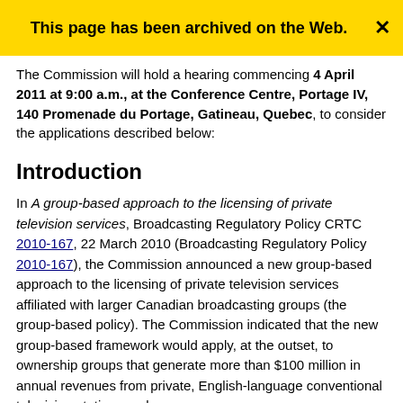This page has been archived on the Web.
The Commission will hold a hearing commencing 4 April 2011 at 9:00 a.m., at the Conference Centre, Portage IV, 140 Promenade du Portage, Gatineau, Quebec, to consider the applications described below:
Introduction
In A group-based approach to the licensing of private television services, Broadcasting Regulatory Policy CRTC 2010-167, 22 March 2010 (Broadcasting Regulatory Policy 2010-167), the Commission announced a new group-based approach to the licensing of private television services affiliated with larger Canadian broadcasting groups (the group-based policy). The Commission indicated that the new group-based framework would apply, at the outset, to ownership groups that generate more than $100 million in annual revenues from private, English-language conventional television stations and own